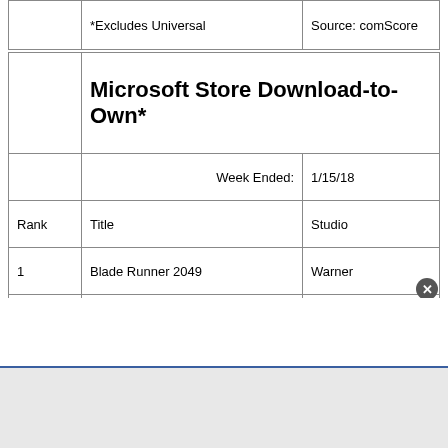|  | *Excludes Universal | Source: comScore |
| --- | --- | --- |
| Rank | Title | Studio |
| --- | --- | --- |
|  | Microsoft Store Download-to-Own* |  |
|  | Week Ended: | 1/15/18 |
| Rank | Title | Studio |
| 1 | Blade Runner 2049 | Warner |
| 2 | Jigsaw | Lionsgate |
| 3 | Thank You for Your Service | Universal |
| 4 | It (2017) | Warner |